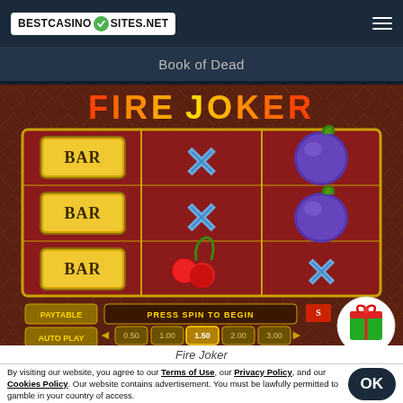BESTCASINO SITES.NET
Book of Dead
[Figure (screenshot): Fire Joker slot game screenshot showing 3x3 reel grid with BAR symbols, X symbols, plum and cherry fruit symbols. Shows PAYTABLE, AUTO PLAY buttons, PRESS SPIN TO BEGIN banner, bet values 0.50, 1.00, 1.50, 2.00, 3.00, and a green gift box icon.]
Fire Joker
By visiting our website, you agree to our Terms of Use, our Privacy Policy, and our Cookies Policy. Our website contains advertisement. You must be lawfully permitted to gamble in your country of access.